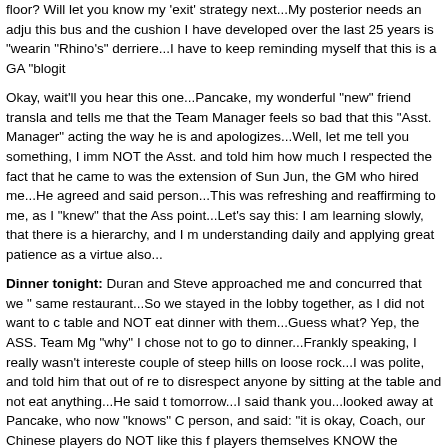floor? Will let you know my 'exit' strategy next...My posterior needs an adjustment on this bus and the cushion I have developed over the last 25 years is "wearing" out on "Rhino's" derriere...I have to keep reminding myself that this is a GA "blogit"...
Okay, wait'll you hear this one...Pancake, my wonderful "new" friend translates and tells me that the Team Manager feels so bad that this "Asst. Manager" is acting the way he is and apologizes...Well, let me tell you something, I immediately told NOT the Asst. and told him how much I respected the fact that he came to me, as he was the extension of Sun Jun, the GM who hired me...He agreed and said I was a good person...This was refreshing and reaffirming to me, as I "knew" that the Asst. missed the point...Let's say this: I am learning slowly, that there is a hierarchy, and I must keep understanding daily and applying great patience as a virtue also...
Dinner tonight: Duran and Steve approached me and concurred that we "skip" the same restaurant...So we stayed in the lobby together, as I did not want to commandeer a table and NOT eat dinner with them...Guess what? Yep, the ASS. Team Mgr. asked me "why" I chose not to go to dinner...Frankly speaking, I really wasn't interested in climbing a couple of steep hills on loose rock...I was polite, and told him that out of respect, I chose to disrespect anyone by sitting at the table and not eat anything...He said they will adjust tomorrow...I said thank you...looked away at Pancake, who now "knows" Coach is a good person, and said: "it is okay, Coach, our Chinese players do NOT like this food either...the players themselves KNOW the difference between "their" homeland food and "American" Chinese food...
So, ol tommyboy here, puts on his thinking cap, and decides, hmmm, we need...To our surprise and delight, several CPOs from our beloved USN, walk into the hotel and into the lobby and immediately say hello to us...We in turn were also happy to speak with them...I was proud to even have the pleasure of meeting our Patriots at sea...It turns out that they will be leaving on Friday morning, heading off the wild blue yonder...As for the restaurants, and guess what? They had...a 100 year old establishment, les... one of them said the magic words to all of us: "Oh yeah, we had RIBS and mashed pota...